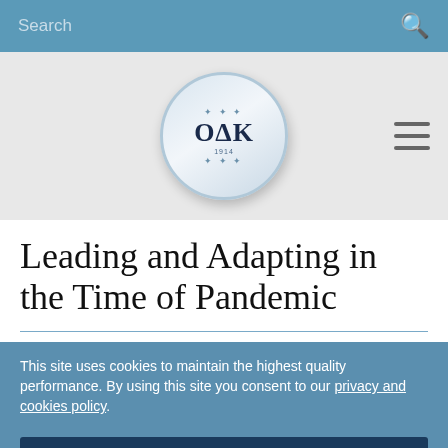Search
[Figure (logo): OAK organization circular logo with laurel wreath and year 1914]
Leading and Adapting in the Time of Pandemic
This site uses cookies to maintain the highest quality performance. By using this site you consent to our privacy and cookies policy.
Accept